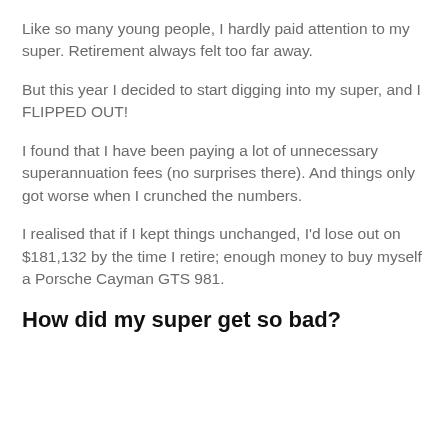Like so many young people, I hardly paid attention to my super. Retirement always felt too far away.
But this year I decided to start digging into my super, and I FLIPPED OUT!
I found that I have been paying a lot of unnecessary superannuation fees (no surprises there). And things only got worse when I crunched the numbers.
I realised that if I kept things unchanged, I'd lose out on $181,132 by the time I retire; enough money to buy myself a Porsche Cayman GTS 981.
How did my super get so bad?